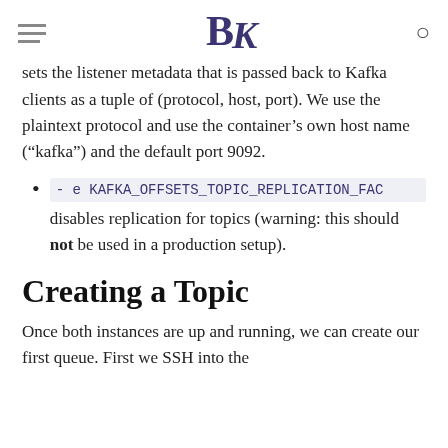BK
sets the listener metadata that is passed back to Kafka clients as a tuple of (protocol, host, port). We use the plaintext protocol and use the container’s own host name (“kafka”) and the default port 9092.
- e KAFKA_OFFSETS_TOPIC_REPLICATION_FAC disables replication for topics (warning: this should not be used in a production setup).
Creating a Topic
Once both instances are up and running, we can create our first queue. First we SSH into the